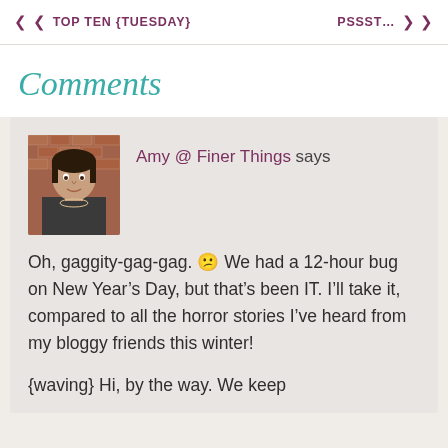« « TOP TEN {TUESDAY}    PSSST… » »
Comments
[Figure (photo): Avatar photo of Amy, a woman with dark hair in front of a brick wall background]
Amy @ Finer Things says
Oh, gaggity-gag-gag. 🙁 We had a 12-hour bug on New Year's Day, but that's been IT. I'll take it, compared to all the horror stories I've heard from my bloggy friends this winter!
{waving} Hi, by the way. We keep